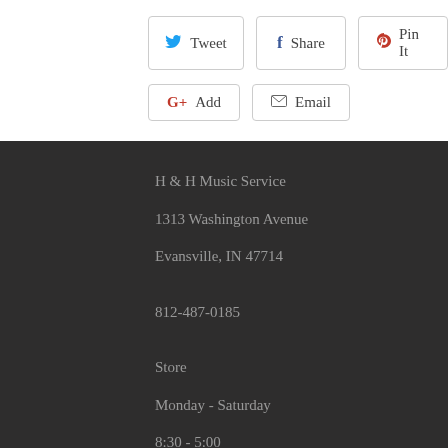[Figure (other): Social sharing buttons row 1: Tweet (Twitter), Share (Facebook), Pin It (Pinterest)]
[Figure (other): Social sharing buttons row 2: G+ Add (Google Plus), Email]
H & H Music Service
1313 Washington Avenue
Evansville, IN 47714
812-487-0185
Store
Monday - Saturday
8:30 - 5:00